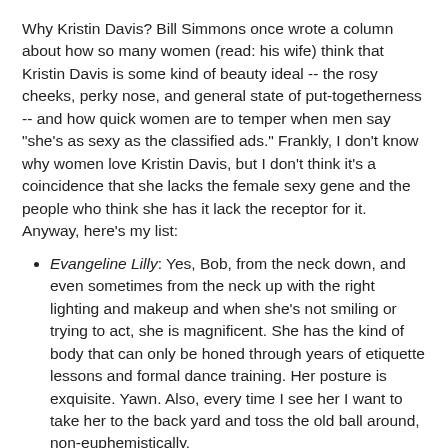Why Kristin Davis? Bill Simmons once wrote a column about how so many women (read: his wife) think that Kristin Davis is some kind of beauty ideal -- the rosy cheeks, perky nose, and general state of put-togetherness -- and how quick women are to temper when men say "she's as sexy as the classified ads." Frankly, I don't know why women love Kristin Davis, but I don't think it's a coincidence that she lacks the female sexy gene and the people who think she has it lack the receptor for it. Anyway, here's my list:
Evangeline Lilly: Yes, Bob, from the neck down, and even sometimes from the neck up with the right lighting and makeup and when she's not smiling or trying to act, she is magnificent. She has the kind of body that can only be honed through years of etiquette lessons and formal dance training. Her posture is exquisite. Yawn. Also, every time I see her I want to take her to the back yard and toss the old ball around, non-euphemistically.
Cobie Smulders: A face like a china doll. Just